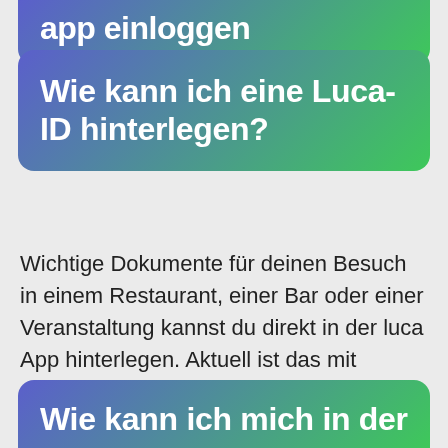app einloggen
Wie kann ich eine Luca-ID hinterlegen?
Wichtige Dokumente für deinen Besuch in einem Restaurant, einer Bar oder einer Veranstaltung kannst du direkt in der luca App hinterlegen. Aktuell ist das mit negativen Testergebnissen von teilnehmenden Testzentren, Impf- und Genesenennachweisen möglich. Eine luca ID ist schnell in wenigen Schritten erstellt.
Wie kann ich mich in der